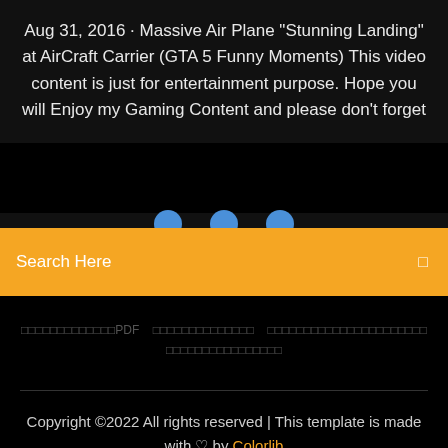Aug 31, 2016 · Massive Air Plane "Stunning Landing" at AirCraft Carrier (GTA 5 Funny Moments) This video content is just for entertainment purpose. Hope you will Enjoy my Gaming Content and please don't forget
[Figure (screenshot): Search bar with orange/yellow background containing text 'Search Here' and a search icon on the right]
□□□□□□□□□□□□□PDF □□□□□□□□□□□□□□ □□□□□□□□□□□□□□□□□□□□□□ □□□□□□□□□□□□□□□□
Copyright ©2022 All rights reserved | This template is made with ♡ by Colorlib